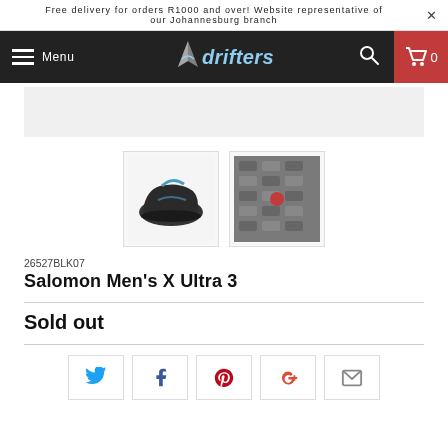Free delivery for orders R1000 and over! Website representative of our Johannesburg branch
[Figure (screenshot): Drifters website navigation bar with hamburger menu, Drifters logo (shark + brand name), search icon, and red cart icon showing 0]
[Figure (photo): Two thumbnail images: left shows Salomon Men's X Ultra 3 hiking shoe in black/blue; right shows close-up of the shoe sole texture]
26527BLK07
Salomon Men's X Ultra 3
Sold out
[Figure (infographic): Social sharing buttons row: Twitter (blue bird), Facebook (blue f), Pinterest (red P), Google+ (red G+), Email (grey envelope)]